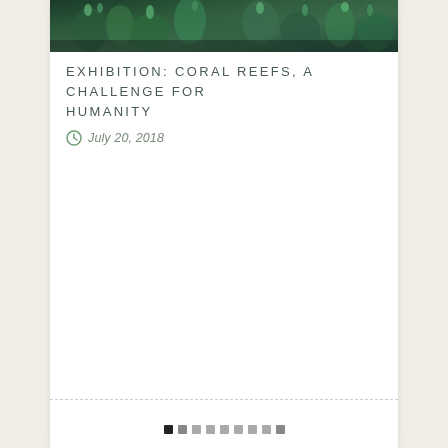[Figure (photo): Close-up underwater photo of colorful coral reef with green and teal coral organisms]
EXHIBITION: CORAL REEFS, A CHALLENGE FOR HUMANITY
July 20, 2018
Pagination dots row